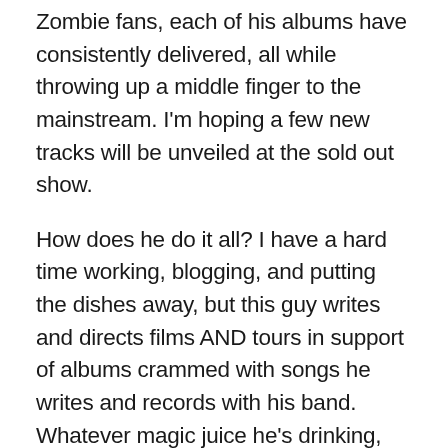Zombie fans, each of his albums have consistently delivered, all while throwing up a middle finger to the mainstream. I'm hoping a few new tracks will be unveiled at the sold out show.
How does he do it all? I have a hard time working, blogging, and putting the dishes away, but this guy writes and directs films AND tours in support of albums crammed with songs he writes and records with his band. Whatever magic juice he's drinking, gimme some of that!
In the movie realm, on the horizon for Zombie is his own crowdfunded horror film, 31. Early clues such as plot, storyboards, and character design point to this being the best work of his career, which is encouraging for people who were left